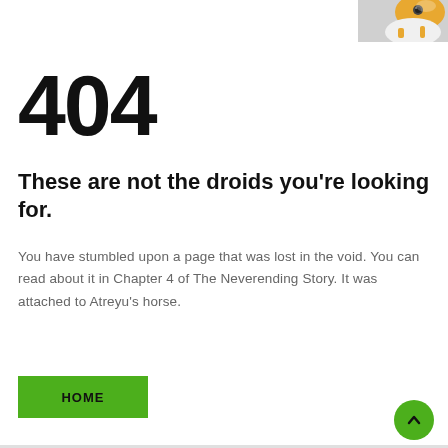[Figure (photo): Partial photo of a robot (BB-8 style) toy in upper right corner, showing orange and white body]
404
These are not the droids you're looking for.
You have stumbled upon a page that was lost in the void. You can read about it in Chapter 4 of The Neverending Story. It was attached to Atreyu's horse.
HOME